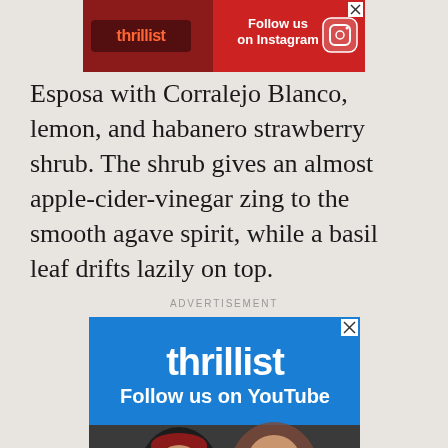[Figure (screenshot): Thrillist Instagram follow advertisement banner at top of page with logo and Instagram icon]
Esposa with Corralejo Blanco, lemon, and habanero strawberry shrub. The shrub gives an almost apple-cider-vinegar zing to the smooth agave spirit, while a basil leaf drifts lazily on top.
ADVERTISEMENT
[Figure (screenshot): Thrillist YouTube follow advertisement showing two men eating food, with YouTube play button overlay]